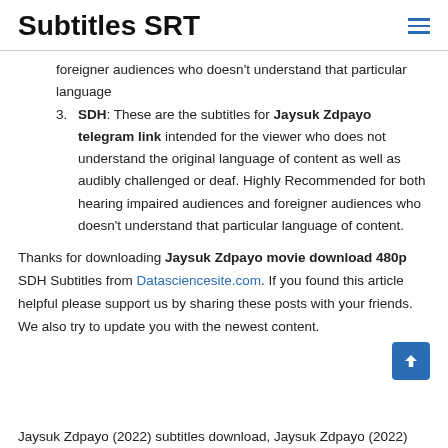Subtitles SRT
foreigner audiences who doesn't understand that particular language
SDH: These are the subtitles for Jaysuk Zdpayo telegram link intended for the viewer who does not understand the original language of content as well as audibly challenged or deaf. Highly Recommended for both hearing impaired audiences and foreigner audiences who doesn't understand that particular language of content.
Thanks for downloading Jaysuk Zdpayo movie download 480p SDH Subtitles from Datasciencesite.com. If you found this article helpful please support us by sharing these posts with your friends. We also try to update you with the newest content.
Jaysuk Zdpayo (2022) subtitles download, Jaysuk Zdpayo (2022)